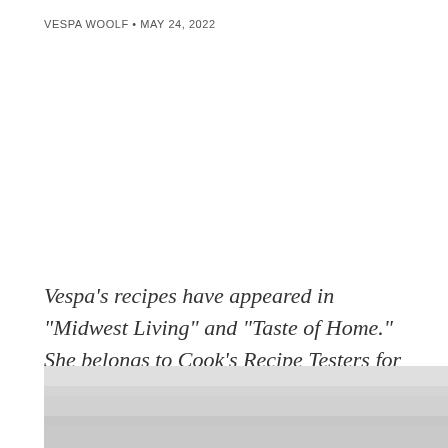VESPA WOOLF • MAY 24, 2022
Vespa's recipes have appeared in "Midwest Living" and "Taste of Home." She belongs to Cook's Recipe Testers for "Cook's Illustrated."
[Figure (photo): Light grey textured surface, partially visible at the bottom of the page]